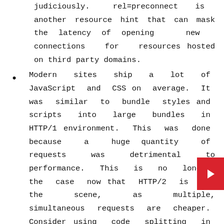judiciously. rel=preconnect is another resource hint that can mask the latency of opening new connections for resources hosted on third party domains.
Modern sites ship a lot of JavaScript and CSS on average. It was similar to bundle styles and scripts into large bundles in HTTP/1 environment. This was done because a huge quantity of requests was detrimental to performance. This is no longer the case now that HTTP/2 is on the scene, as multiple, simultaneous requests are cheaper. Consider using code splitting in web pack to limit the number of scripts downloaded to only what is needed by the current page or view. divide your CSS into smaller template component-specific files, and only include those resources where they're likely to be